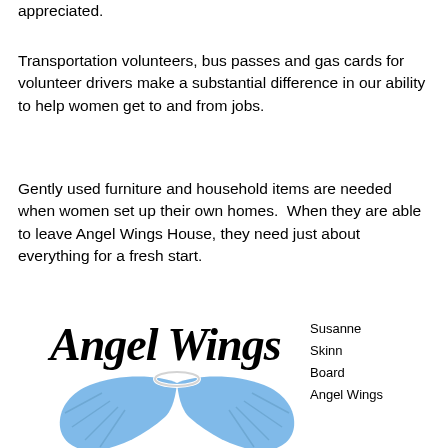appreciated.
Transportation volunteers, bus passes and gas cards for volunteer drivers make a substantial difference in our ability to help women get to and from jobs.
Gently used furniture and household items are needed when women set up their own homes.  When they are able to leave Angel Wings House, they need just about everything for a fresh start.
[Figure (logo): Angel Wings logo with cursive text 'Angel Wings' in black and blue stylized angel wings with a halo below]
Susanne Skinn Board Angel Wings